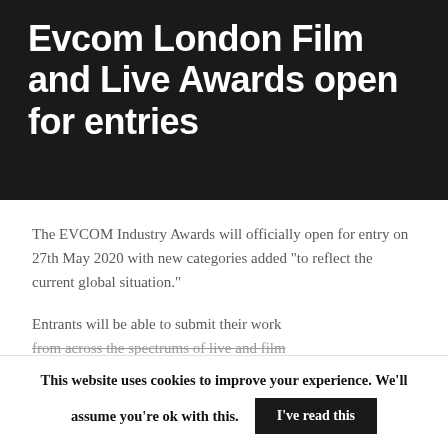Evcom London Film and Live Awards open for entries
The EVCOM Industry Awards will officially open for entry on 27th May 2020 with new categories added “to reflect the current global situation.”
Entrants will be able to submit their work from across the spectrums of live and film
This website uses cookies to improve your experience. We’ll assume you’re ok with this.